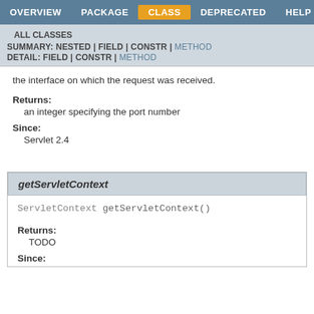OVERVIEW  PACKAGE  CLASS  DEPRECATED  HELP
ALL CLASSES
SUMMARY: NESTED | FIELD | CONSTR | METHOD
DETAIL: FIELD | CONSTR | METHOD
the interface on which the request was received.
Returns:
an integer specifying the port number
Since:
Servlet 2.4
getServletContext
ServletContext getServletContext()
Returns:
TODO
Since: